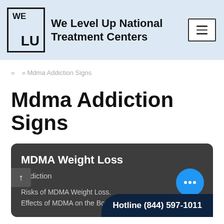[Figure (logo): We Level Up National Treatment Centers logo with WE LU box mark]
» » Mdma Addiction Signs
Mdma Addiction Signs
MDMA Weight Loss
Addiction
Risks of MDMA Weight Loss. Effects of MDMA on the Body
Hotline (844) 597-1011